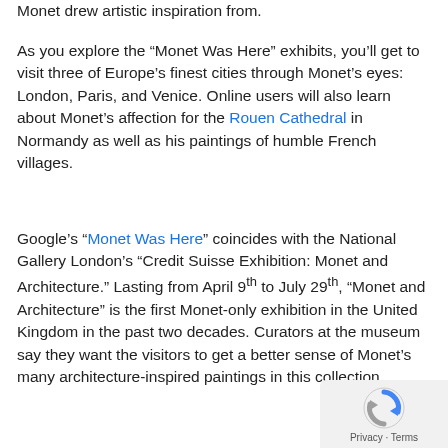Monet drew artistic inspiration from.
As you explore the “Monet Was Here” exhibits, you’ll get to visit three of Europe’s finest cities through Monet’s eyes: London, Paris, and Venice. Online users will also learn about Monet’s affection for the Rouen Cathedral in Normandy as well as his paintings of humble French villages.
Google’s “Monet Was Here” coincides with the National Gallery London’s “Credit Suisse Exhibition: Monet and Architecture.” Lasting from April 9th to July 29th, “Monet and Architecture” is the first Monet-only exhibition in the United Kingdom in the past two decades. Curators at the museum say they want the visitors to get a better sense of Monet’s many architecture-inspired paintings in this collection.
[Figure (logo): reCAPTCHA Privacy - Terms badge in bottom right corner]